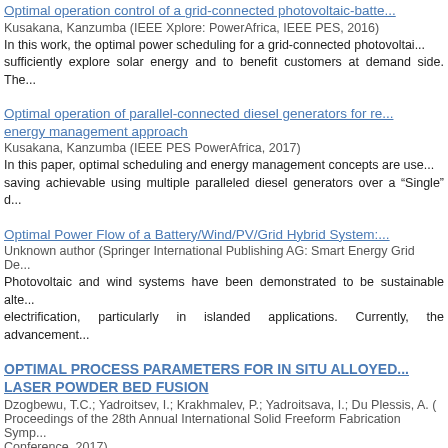Optimal operation control of a grid-connected photovoltaic-batte...
Kusakana, Kanzumba (IEEE Xplore: PowerAfrica, IEEE PES, 2016)
In this work, the optimal power scheduling for a grid-connected photovoltai... sufficiently explore solar energy and to benefit customers at demand side. The...
Optimal operation of parallel-connected diesel generators for re... energy management approach
Kusakana, Kanzumba (IEEE PES PowerAfrica, 2017)
In this paper, optimal scheduling and energy management concepts are use... saving achievable using multiple paralleled diesel generators over a "Single" d...
Optimal Power Flow of a Battery/Wind/PV/Grid Hybrid System:...
Unknown author (Springer International Publishing AG: Smart Energy Grid De...
Photovoltaic and wind systems have been demonstrated to be sustainable alte... electrification, particularly in islanded applications. Currently, the advancement...
OPTIMAL PROCESS PARAMETERS FOR IN SITU ALLOYED... LASER POWDER BED FUSION
Dzogbewu, T.C.; Yadroitsev, I.; Krakhmalev, P.; Yadroitsava, I.; Du Plessis, A. (... Proceedings of the 28th Annual International Solid Freeform Fabrication Symp... Conference, 2017)
Den Bath Tech (DFT) la...